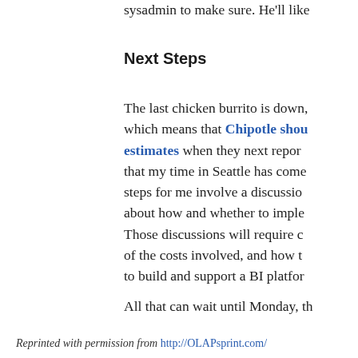sysadmin to make sure. He'll like
Next Steps
The last chicken burrito is down, which means that Chipotle should beat estimates when they next report, that my time in Seattle has come, steps for me involve a discussion about how and whether to imple, Those discussions will require d, of the costs involved, and how t, to build and support a BI platfor
All that can wait until Monday, th
Reprinted with permission from http://OLAPsprint.com/